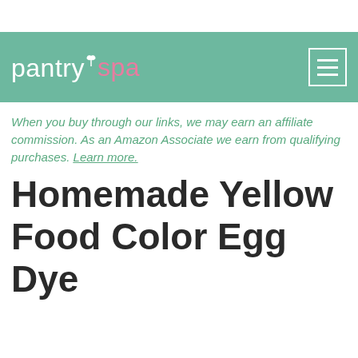pantry spa
When you buy through our links, we may earn an affiliate commission. As an Amazon Associate we earn from qualifying purchases. Learn more.
Homemade Yellow Food Color Egg Dye